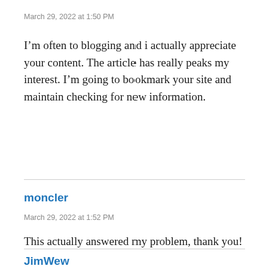March 29, 2022 at 1:50 PM
I’m often to blogging and i actually appreciate your content. The article has really peaks my interest. I’m going to bookmark your site and maintain checking for new information.
moncler
March 29, 2022 at 1:52 PM
This actually answered my problem, thank you!
JimWew
March 29, 2022 at 2:28 PM